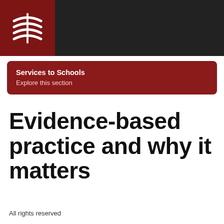[Figure (logo): White stylized open book / wave logo on dark red background in top-left header]
Services to Schools
Explore this section
Evidence-based practice and why it matters
All rights reserved